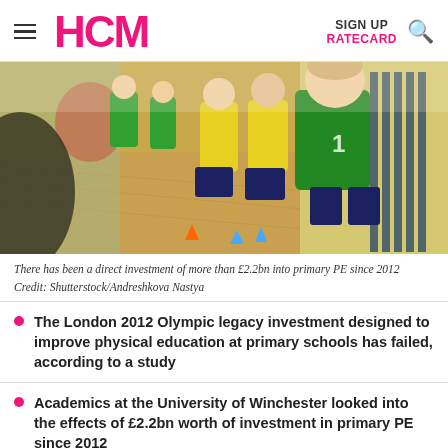HCM | SIGN UP | RATECARD
[Figure (photo): Children in a gymnasium wearing yellow and green sports shirts, running in a line on a wooden floor]
There has been a direct investment of more than £2.2bn into primary PE since 2012 Credit: Shutterstock/Andreshkova Nastya
The London 2012 Olympic legacy investment designed to improve physical education at primary schools has failed, according to a study
Academics at the University of Winchester looked into the effects of £2.2bn worth of investment in primary PE since 2012